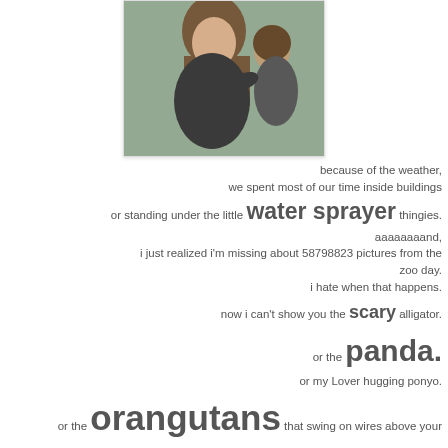[Figure (photo): Photo of a woman with long brown hair wearing a black top, holding a child. Outdoor setting.]
because of the weather, we spent most of our time inside buildings or standing under the little water sprayer thingies. aaaaaaaand, i just realized i'm missing about 58798823 pictures from the zoo day. i hate when that happens. now i can't show you the scary alligator. or the panda. or my Lover hugging ponyo. or the orangutans that swing on wires above your